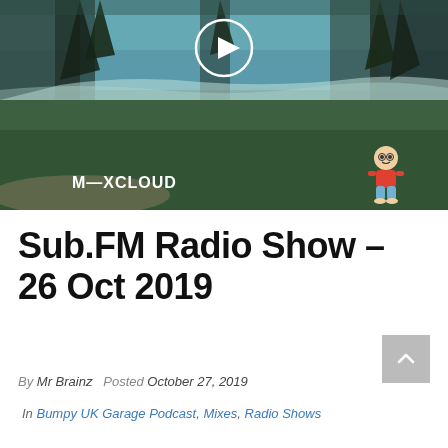[Figure (photo): Aerial view of tropical beach with palm trees and ocean waves; Mixcloud player overlay with play button circle at top center, M-XCLOUD logo at bottom left, cartoon character in red shirt at bottom right]
Sub.FM Radio Show – 26 Oct 2019
By Mr Brainz  Posted October 27, 2019
In Bumpy UK Garage Podcast, Mixes, Radio Shows